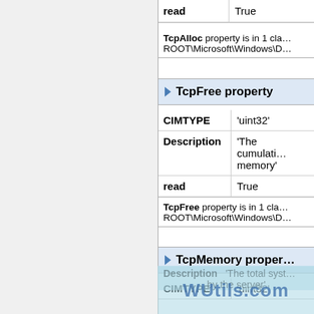| Property | Value |
| --- | --- |
| read | True |
| TcpAlloc property is in 1 class ROOT\Microsoft\Windows\D |  |
TcpFree property
| Property | Value |
| --- | --- |
| CIMTYPE | 'uint32' |
| Description | 'The cumulati... memory' |
| read | True |
TcpFree property is in 1 class ROOT\Microsoft\Windows\D
TcpMemory property
| Property | Value |
| --- | --- |
| CIMTYPE | 'uint32' |
| Description | 'The total syst... by the server' |
| read | True |
TcpMemory property is in 1 ROOT\Microsoft\Windows\D